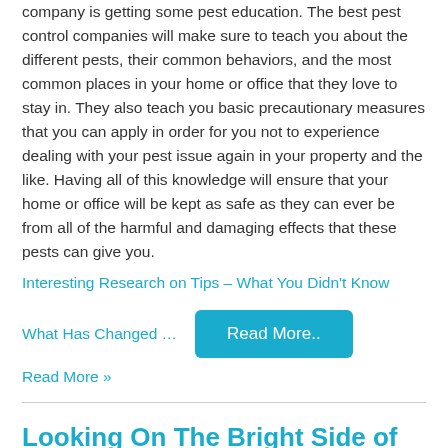company is getting some pest education. The best pest control companies will make sure to teach you about the different pests, their common behaviors, and the most common places in your home or office that they love to stay in. They also teach you basic precautionary measures that you can apply in order for you not to experience dealing with your pest issue again in your property and the like. Having all of this knowledge will ensure that your home or office will be kept as safe as they can ever be from all of the harmful and damaging effects that these pests can give you.
Interesting Research on Tips – What You Didn't Know
What Has Changed ...
Read More..
Read More »
Looking On The Bright Side of Installation
By Joy | October 10, 2018 | No Comments | Financial